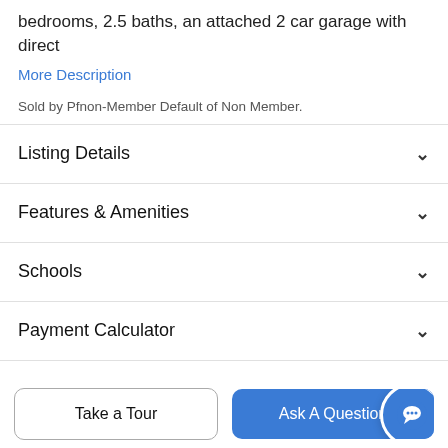bedrooms, 2.5 baths, an attached 2 car garage with direct
More Description
Sold by Pfnon-Member Default of Non Member.
Listing Details
Features & Amenities
Schools
Payment Calculator
Contact Agent
Take a Tour
Ask A Question